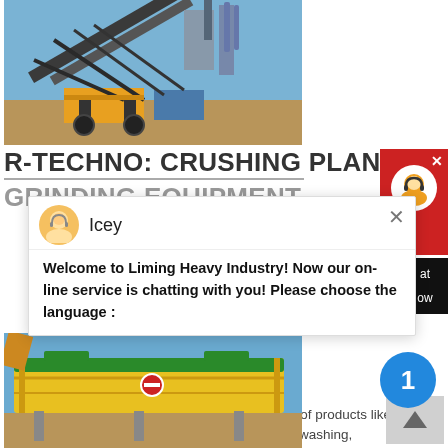[Figure (photo): Industrial crushing plant machinery with conveyor belts and heavy equipment outdoors on a construction/mining site with blue sky]
R-TECHNO: CRUSHING PLANT & GRINDING EQUIPMENT
Welcome to Liming Heavy Industry! Now our on-line service is chatting with you! Please choose the language :
processing equipment. It offers a complete range of products like Crushing, screening, Grinding, Sand making and washing, mineral handling plant, and mineral washing plant equipm... The Royal brand was renamed "
get price
[Figure (photo): Yellow and green industrial screening or vibrating equipment (screener/sieve) against blue sky]